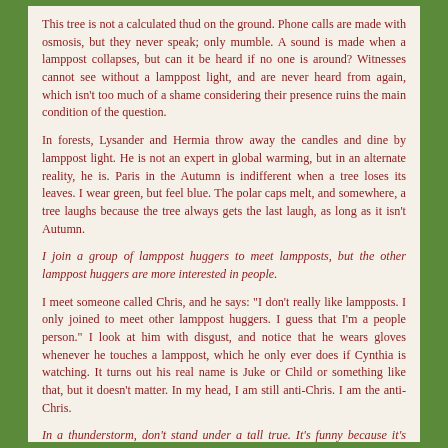This tree is not a calculated thud on the ground. Phone calls are made with osmosis, but they never speak; only mumble. A sound is made when a lamppost collapses, but can it be heard if no one is around? Witnesses cannot see without a lamppost light, and are never heard from again, which isn't too much of a shame considering their presence ruins the main condition of the question.
In forests, Lysander and Hermia throw away the candles and dine by lamppost light. He is not an expert in global warming, but in an alternate reality, he is. Paris in the Autumn is indifferent when a tree loses its leaves. I wear green, but feel blue. The polar caps melt, and somewhere, a tree laughs because the tree always gets the last laugh, as long as it isn't Autumn.
I join a group of lamppost huggers to meet lampposts, but the other lamppost huggers are more interested in people.
I meet someone called Chris, and he says: "I don't really like lampposts. I only joined to meet other lamppost huggers. I guess that I'm a people person." I look at him with disgust, and notice that he wears gloves whenever he touches a lamppost, which he only ever does if Cynthia is watching. It turns out his real name is Juke or Child or something like that, but it doesn't matter. In my head, I am still anti-Chris. I am the anti-Chris.
In a thunderstorm, don't stand under a tall true. It's funny because it's tree.